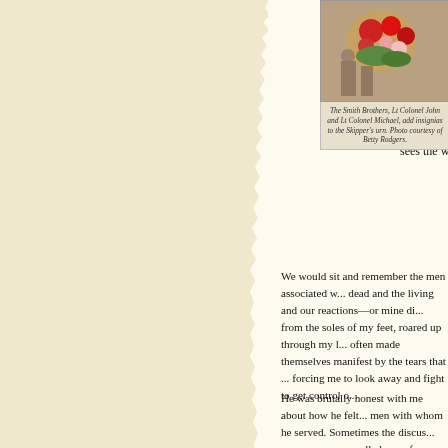[Figure (photo): Photo of flowers/arrangement on top portion of image with red and colorful flowers visible]
The Smith Brothers, Lt Colonel John and Lt Colonel Michael, add insignias to the Skipper's urn. Photo courtesy of Betty Rodgers.
Someone... fear, the g... refuse to... a survivo... sees the w...
We would sit and remember the men associated w... dead and the living and our reactions—or mine di... from the soles of my feet, roared up through my l... often made themselves manifest by the tears that ... forcing me to look away and fight to get control o...
He was brutally honest with me about how he felt... men with whom he served. Sometimes the discus... raucous as we recalled one of our comrades who a... hills around Khe Sanh. We talked quietly, we argu... then argued again, then hugged. What we knew, d... our guts, no one else knew unless they had underg... initiation into the club of those who have faced the... combat. And we tried to articulate that. He liked t... elephant and looking the tiger in the eye"...